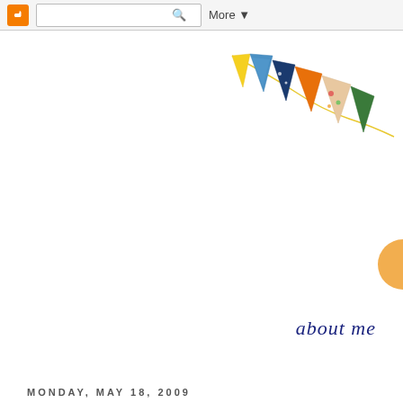Blogger toolbar with search and More button
[Figure (illustration): Colorful bunting/pennant flags illustration in yellow, blue (patterned), dark blue (polka dot), orange, and floral fabric patterns, strung on a yellow string from upper right]
[Figure (illustration): Partial circular/orange decorative element on the right edge]
about me
MONDAY, MAY 18, 2009